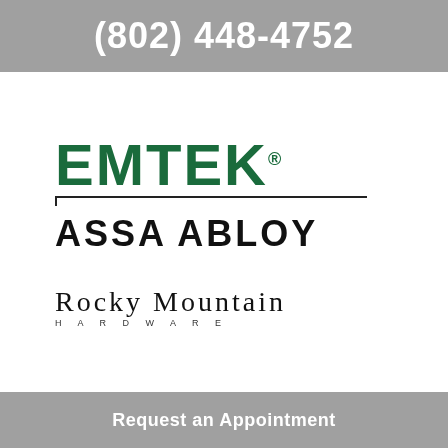(802) 448-4752
[Figure (logo): EMTEK brand logo in dark green bold uppercase letters with registered trademark symbol, beneath it a rectangular bracket underline, and below that ASSA ABLOY in bold black uppercase letters with wide letter spacing]
[Figure (logo): Rocky Mountain Hardware logo in serif font, with ROCKY MOUNTAIN in large text and HARDWARE in small spaced capitals beneath]
Request an Appointment